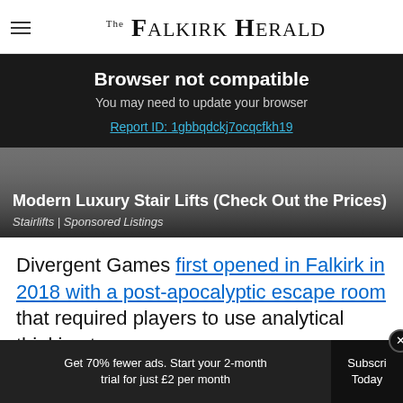The Falkirk Herald
Browser not compatible
You may need to update your browser
Report ID: 1gbbqdckj7ocqcfkh19
[Figure (photo): Ad card showing stair lift advertisement with dark gradient overlay]
Modern Luxury Stair Lifts (Check Out the Prices)
Stairlifts | Sponsored Listings
Divergent Games first opened in Falkirk in 2018 with a post-apocalyptic escape room that required players to use analytical thinking to...
Get 70% fewer ads. Start your 2-month trial for just £2 per month  Subscribe Today